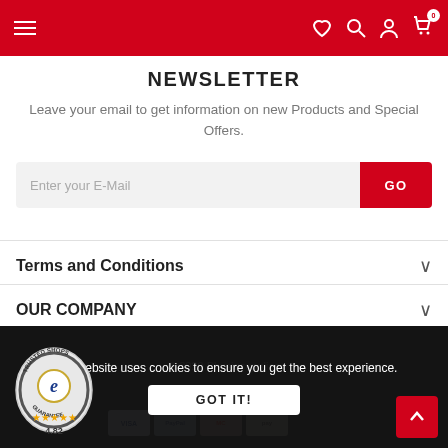Menu | Wishlist | Search | Account | Cart (0)
NEWSLETTER
Leave your email to get information on new Products and Special Offers.
Enter your E-Mail | GO
Terms and Conditions
OUR COMPANY
This website uses cookies to ensure you get the best experience.
© 2020 Physiosupplies | Trusted Shops 4.82 | Payment icons | GOT IT!